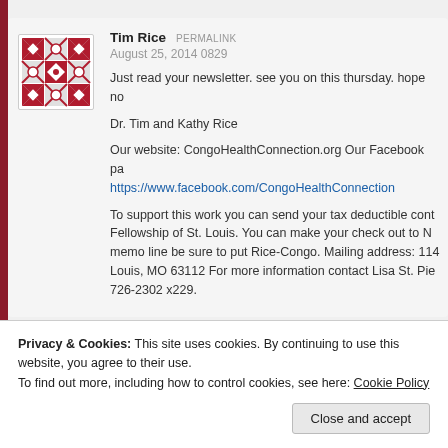Tim Rice  PERMALINK
August 25, 2014 0829
Just read your newsletter. see you on this thursday. hope no
Dr. Tim and Kathy Rice
Our website: CongoHealthConnection.org Our Facebook pa https://www.facebook.com/CongoHealthConnection
To support this work you can send your tax deductible cont Fellowship of St. Louis. You can make your check out to N memo line be sure to put Rice-Congo. Mailing address: 114 Louis, MO 63112 For more information contact Lisa St. Pie 726-2302 x229.
Privacy & Cookies: This site uses cookies. By continuing to use this website, you agree to their use.
To find out more, including how to control cookies, see here: Cookie Policy
Close and accept